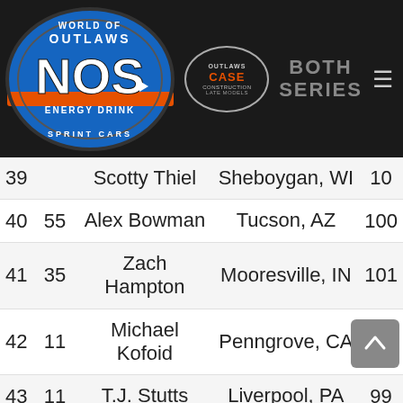[Figure (logo): World of Outlaws NOS Energy Drink Sprint Cars logo on dark background header with CASE Construction Late Models logo and BOTH SERIES text and hamburger menu]
| Pos | Car | Driver | Hometown | Pts |
| --- | --- | --- | --- | --- |
| 39 |  | Scotty Thiel | Sheboygan, WI | 10... |
| 40 | 55 | Alex Bowman | Tucson, AZ | 100... |
| 41 | 35 | Zach Hampton | Mooresville, IN | 101... |
| 42 | 11 | Michael Kofoid | Penngrove, CA | 101... |
| 43 | 11 | T.J. Stutts | Liverpool, PA | 99 |
| 44 | 7X | Justin Henderson | Tea, SD | 97 |
| 45 | 101 | Lachlan McHugh | Gold Coast, QLD, AU | 96 |
| 46 | 16 | Brooke Tatnall | San Souci, | 9... |